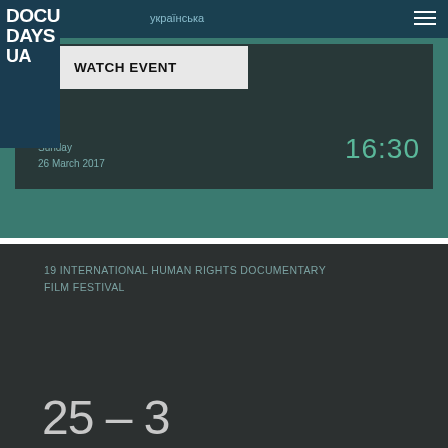DOCU DAYS UA
українська
WATCH EVENT
Sunday
26 March 2017
16:30
19 INTERNATIONAL HUMAN RIGHTS DOCUMENTARY FILM FESTIVAL
25 – 3